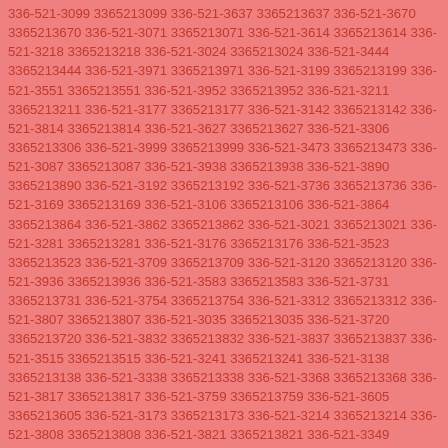336-521-3099 3365213099 336-521-3637 3365213637 336-521-3670 3365213670 336-521-3071 3365213071 336-521-3614 3365213614 336-521-3218 3365213218 336-521-3024 3365213024 336-521-3444 3365213444 336-521-3971 3365213971 336-521-3199 3365213199 336-521-3551 3365213551 336-521-3952 3365213952 336-521-3211 3365213211 336-521-3177 3365213177 336-521-3142 3365213142 336-521-3814 3365213814 336-521-3627 3365213627 336-521-3306 3365213306 336-521-3999 3365213999 336-521-3473 3365213473 336-521-3087 3365213087 336-521-3938 3365213938 336-521-3890 3365213890 336-521-3192 3365213192 336-521-3736 3365213736 336-521-3169 3365213169 336-521-3106 3365213106 336-521-3864 3365213864 336-521-3862 3365213862 336-521-3021 3365213021 336-521-3281 3365213281 336-521-3176 3365213176 336-521-3523 3365213523 336-521-3709 3365213709 336-521-3120 3365213120 336-521-3936 3365213936 336-521-3583 3365213583 336-521-3731 3365213731 336-521-3754 3365213754 336-521-3312 3365213312 336-521-3807 3365213807 336-521-3035 3365213035 336-521-3720 3365213720 336-521-3832 3365213832 336-521-3837 3365213837 336-521-3515 3365213515 336-521-3241 3365213241 336-521-3138 3365213138 336-521-3338 3365213338 336-521-3368 3365213368 336-521-3817 3365213817 336-521-3759 3365213759 336-521-3605 3365213605 336-521-3173 3365213173 336-521-3214 3365213214 336-521-3808 3365213808 336-521-3821 3365213821 336-521-3349 3365213349 336-521-3632 3365213632 336-521-3735 3365213735 336-521-3343